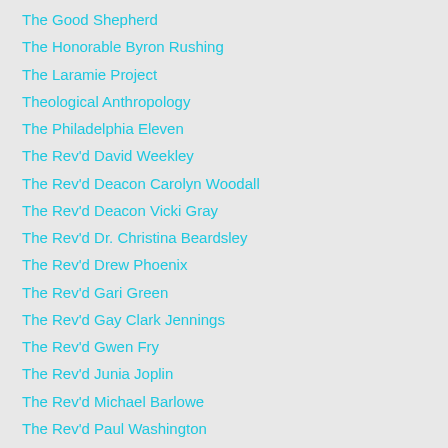The Good Shepherd
The Honorable Byron Rushing
The Laramie Project
Theological Anthropology
The Philadelphia Eleven
The Rev'd David Weekley
The Rev'd Deacon Carolyn Woodall
The Rev'd Deacon Vicki Gray
The Rev'd Dr. Christina Beardsley
The Rev'd Drew Phoenix
The Rev'd Gari Green
The Rev'd Gay Clark Jennings
The Rev'd Gwen Fry
The Rev'd Junia Joplin
The Rev'd Michael Barlowe
The Rev'd Paul Washington
The Rev'd Susan Russell
The Sibyls
The Task Force